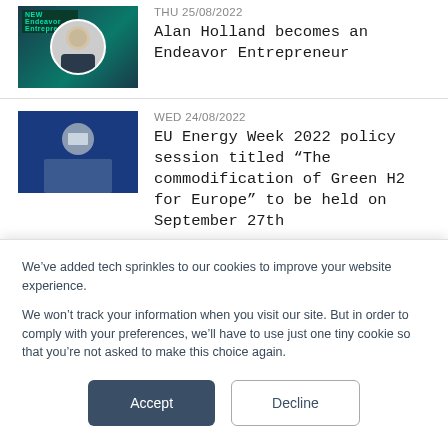[Figure (photo): Thumbnail image with green/teal background and circular portrait photo, labeled NEW Endeavor Entrepreneur]
THU 25/08/2022
Alan Holland becomes an Endeavor Entrepreneur
[Figure (photo): Thumbnail image with blue background showing a man in a suit]
WED 24/08/2022
EU Energy Week 2022 policy session titled “The commodification of Green H2 for Europe” to be held on September 27th
[Figure (photo): Thumbnail image showing what appears to be a modern building or architectural structure]
WED 24/08/2022
New research show SMEs are struggling with demand for salary increases and
We’ve added tech sprinkles to our cookies to improve your website experience.

We won’t track your information when you visit our site. But in order to comply with your preferences, we’ll have to use just one tiny cookie so that you’re not asked to make this choice again.
Accept
Decline